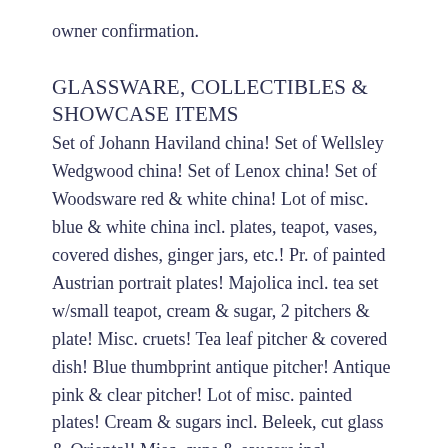owner confirmation.
GLASSWARE, COLLECTIBLES & SHOWCASE ITEMS
Set of Johann Haviland china! Set of Wellsley Wedgwood china! Set of Lenox china! Set of Woodsware red & white china! Lot of misc. blue & white china incl. plates, teapot, vases, covered dishes, ginger jars, etc.! Pr. of painted Austrian portrait plates! Majolica incl. tea set w/small teapot, cream & sugar, 2 pitchers & plate! Misc. cruets! Tea leaf pitcher & covered dish! Blue thumbprint antique pitcher! Antique pink & clear pitcher! Lot of misc. painted plates! Cream & sugars incl. Beleek, cut glass & Oriental! Misc. cups & saucers incl. Copenhagen!